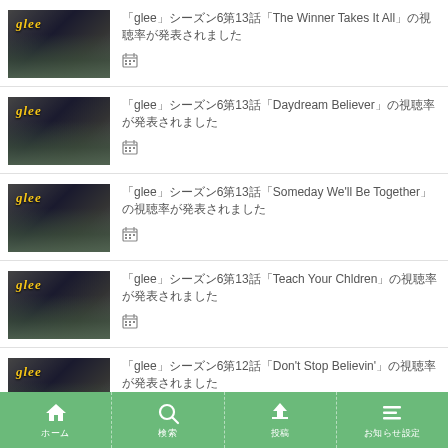「glee」シーズン6第13話「The Winner Takes It All」の視聴率が発表されました
「glee」シーズン6第13話「Daydream Believer」の視聴率が発表されました
「glee」シーズン6第13話「Someday We'll Be Together」の視聴率が発表されました
「glee」シーズン6第13話「Teach Your Chldren」の視聴率が発表されました
「glee」シーズン6第12話「Don't Stop Believin'」の視聴率が発表されました
ホーム　検索　投稿　お知らせ設定